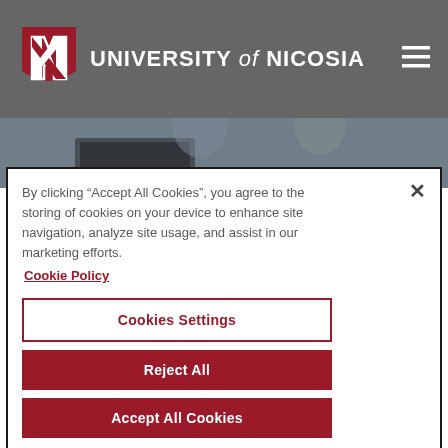[Figure (logo): University of Nicosia logo with N shield and text]
[Figure (photo): Two people (man and woman) working together at a laptop, blurred/dimmed background photo]
By clicking “Accept All Cookies”, you agree to the storing of cookies on your device to enhance site navigation, analyze site usage, and assist in our marketing efforts.
Cookie Policy
Cookies Settings
Reject All
Accept All Cookies